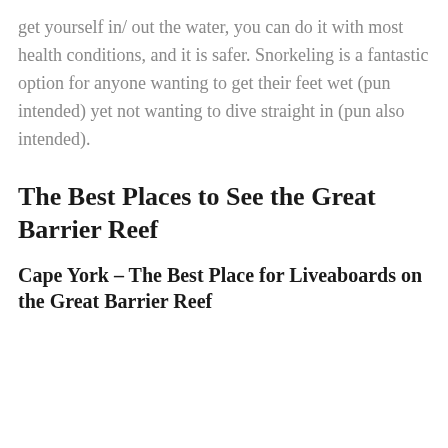get yourself in/ out the water, you can do it with most health conditions, and it is safer. Snorkeling is a fantastic option for anyone wanting to get their feet wet (pun intended) yet not wanting to dive straight in (pun also intended).
The Best Places to See the Great Barrier Reef
Cape York – The Best Place for Liveaboards on the Great Barrier Reef